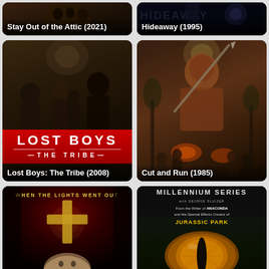[Figure (photo): Movie poster thumbnail for Stay Out of the Attic (2021) horror film]
[Figure (photo): Movie poster thumbnail for Hideaway (1995) horror film]
[Figure (photo): Movie poster for Lost Boys: The Tribe (2008) showing group of young people with red title banner]
[Figure (photo): Movie poster for Cut and Run (1985) showing a large menacing figure and group of people]
[Figure (photo): Movie poster for When the Lights Went Out showing dark red cross and blonde girl]
[Figure (photo): Movie poster for Millennium Series film mentioning Anaconda and Jurassic Park, showing a reptile eye]